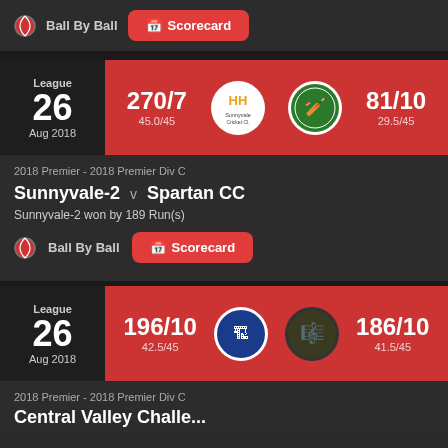[Figure (screenshot): Cricket match results app screen showing two match cards and partial third card with Ball By Ball and Scorecard buttons]
Ball By Ball
Scorecard
League 26 Aug 2018
270/7 45.0/45
81/10 29.5/45
2018 Premier - 2018 Premier Div C
Sunnyvale-2 v Spartan CC
Sunnyvale-2 won by 189 Run(s)
Ball By Ball
Scorecard
League 26 Aug 2018
196/10 42.5/45
186/10 41.5/45
2018 Premier - 2018 Premier Div C